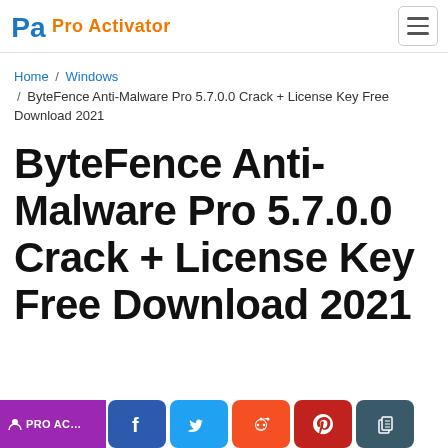Pro Activator
Home / Windows / ByteFence Anti-Malware Pro 5.7.0.0 Crack + License Key Free Download 2021
ByteFence Anti-Malware Pro 5.7.0.0 Crack + License Key Free Download 2021
[Figure (other): Social share bar with Facebook, Twitter, Reddit, Pinterest, and Copy Link icons, plus a purple PRO AC button]